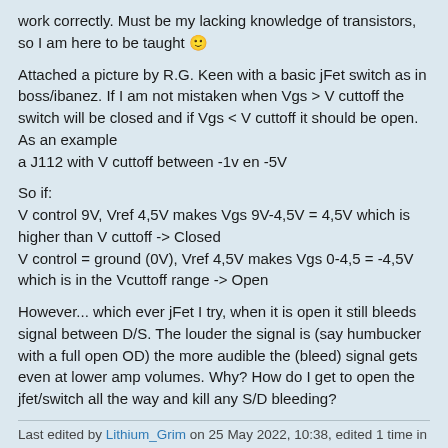work correctly. Must be my lacking knowledge of transistors, so I am here to be taught 🙂
Attached a picture by R.G. Keen with a basic jFet switch as in boss/ibanez. If I am not mistaken when Vgs > V cuttoff the switch will be closed and if Vgs < V cuttoff it should be open. As an example
a J112 with V cuttoff between -1v en -5V
So if:
V control 9V, Vref 4,5V makes Vgs 9V-4,5V = 4,5V which is higher than V cuttoff -> Closed
V control = ground (0V), Vref 4,5V makes Vgs 0-4,5 = -4,5V which is in the Vcuttoff range -> Open
However... which ever jFet I try, when it is open it still bleeds signal between D/S. The louder the signal is (say humbucker with a full open OD) the more audible the (bleed) signal gets even at lower amp volumes. Why? How do I get to open the jfet/switch all the way and kill any S/D bleeding?
Last edited by Lithium_Grim on 25 May 2022, 10:38, edited 1 time in total.